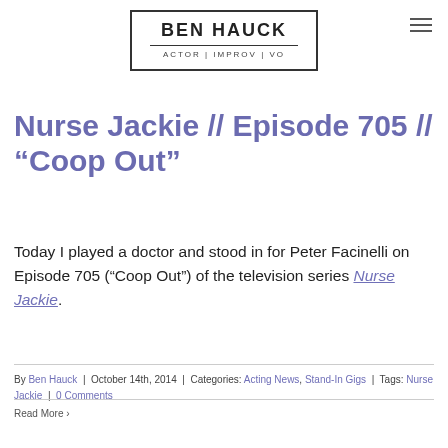[Figure (logo): Ben Hauck logo: text BEN HAUCK in bold uppercase with horizontal rule beneath, subtitle ACTOR | IMPROV | VO, all enclosed in a rectangular border]
Nurse Jackie // Episode 705 // “Coop Out”
Today I played a doctor and stood in for Peter Facinelli on Episode 705 (“Coop Out”) of the television series Nurse Jackie.
By Ben Hauck | October 14th, 2014 | Categories: Acting News, Stand-In Gigs | Tags: Nurse Jackie | 0 Comments
Read More >